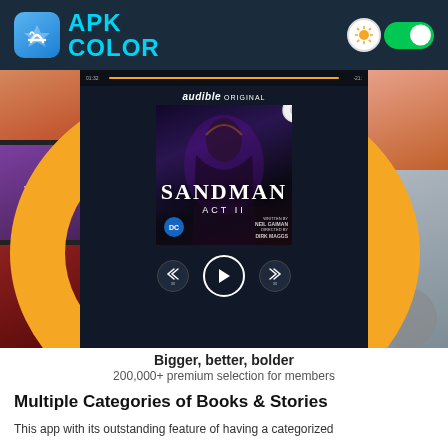APK COLOR
[Figure (screenshot): Audible app screenshot showing Sandman Act II audiobook playing on a phone with earbuds, surrounded by book covers, with a yellow arc and playback controls]
Bigger, better, bolder
200,000+ premium selection for members
Multiple Categories of Books & Stories
This app with its outstanding feature of having a categorized